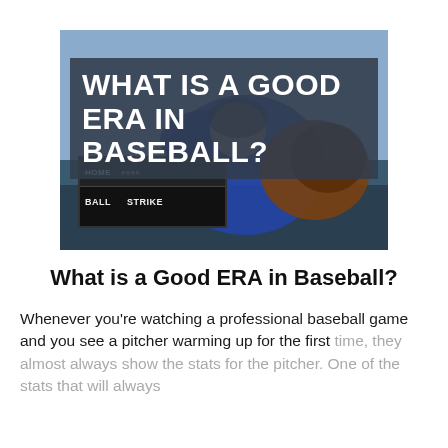[Figure (photo): Photo of a baseball pitcher leaning over a scoreboard showing HOME, BALL, STRIKE labels, with a large dark overlay text box reading WHAT IS A GOOD ERA IN BASEBALL?]
What is a Good ERA in Baseball?
Whenever you're watching a professional baseball game and you see a pitcher warming up for the first time, they almost always show the stats for the pitcher. One of the stats that will always